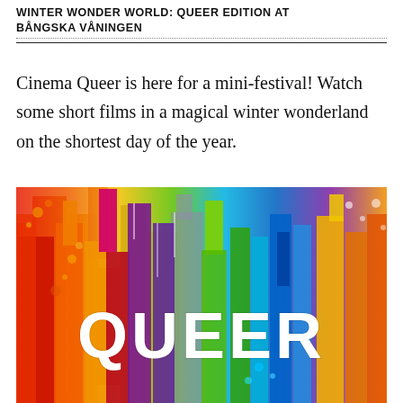WINTER WONDER WORLD: QUEER EDITION AT BÅNGSKA VÅNINGEN
Cinema Queer is here for a mini-festival! Watch some short films in a magical winter wonderland on the shortest day of the year.
[Figure (illustration): Colorful rainbow city skyline with vertical bars in rainbow colors (red, orange, yellow, green, blue, violet) with paint splatter texture, featuring the word QUEER in large white bold text overlaid across the center.]